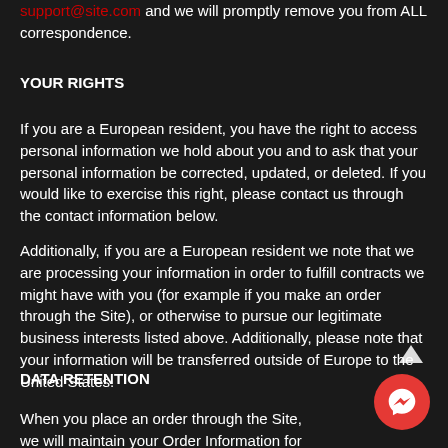support@site.com and we will promptly remove you from ALL correspondence.
YOUR RIGHTS
If you are a European resident, you have the right to access personal information we hold about you and to ask that your personal information be corrected, updated, or deleted. If you would like to exercise this right, please contact us through the contact information below.
Additionally, if you are a European resident we note that we are processing your information in order to fulfill contracts we might have with you (for example if you make an order through the Site), or otherwise to pursue our legitimate business interests listed above. Additionally, please note that your information will be transferred outside of Europe to the United States.
DATA RETENTION
When you place an order through the Site, we will maintain your Order Information for our records unless and until you ask us to delete this information.